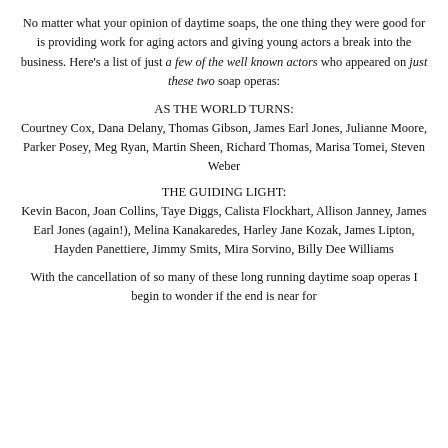No matter what your opinion of daytime soaps, the one thing they were good for is providing work for aging actors and giving young actors a break into the business. Here's a list of just a few of the well known actors who appeared on just these two soap operas:
AS THE WORLD TURNS:
Courtney Cox, Dana Delany, Thomas Gibson, James Earl Jones, Julianne Moore, Parker Posey, Meg Ryan, Martin Sheen, Richard Thomas, Marisa Tomei, Steven Weber
THE GUIDING LIGHT:
Kevin Bacon, Joan Collins, Taye Diggs, Calista Flockhart, Allison Janney, James Earl Jones (again!), Melina Kanakaredes, Harley Jane Kozak, James Lipton, Hayden Panettiere, Jimmy Smits, Mira Sorvino, Billy Dee Williams
With the cancellation of so many of these long running daytime soap operas I begin to wonder if the end is near for